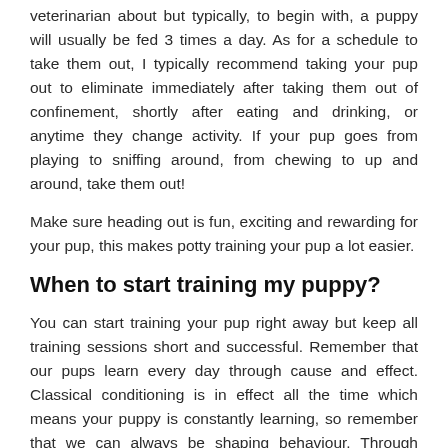veterinarian about but typically, to begin with, a puppy will usually be fed 3 times a day. As for a schedule to take them out, I typically recommend taking your pup out to eliminate immediately after taking them out of confinement, shortly after eating and drinking, or anytime they change activity. If your pup goes from playing to sniffing around, from chewing to up and around, take them out!
Make sure heading out is fun, exciting and rewarding for your pup, this makes potty training your pup a lot easier.
When to start training my puppy?
You can start training your pup right away but keep all training sessions short and successful. Remember that our pups learn every day through cause and effect. Classical conditioning is in effect all the time which means your puppy is constantly learning, so remember that we can always be shaping behaviour. Through teaching our pup appropriate items to play with and chew, as well as manners when eating tho food wo can alwoys bo shoping behaviour.